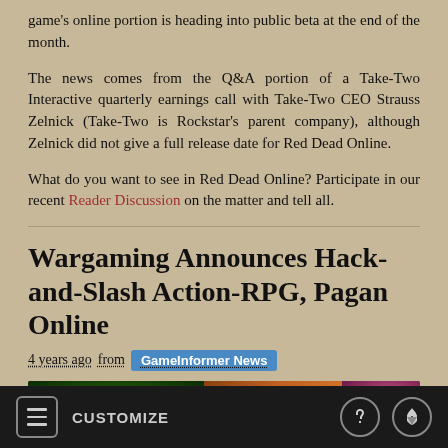game's online portion is heading into public beta at the end of the month.
The news comes from the Q&A portion of a Take-Two Interactive quarterly earnings call with Take-Two CEO Strauss Zelnick (Take-Two is Rockstar's parent company), although Zelnick did not give a full release date for Red Dead Online.
What do you want to see in Red Dead Online? Participate in our recent Reader Discussion on the matter and tell all.
Wargaming Announces Hack-and-Slash Action-RPG, Pagan Online
4 years ago from GameInformer News
[Figure (photo): Colorful game screenshot with green, orange, and pink/magenta elements at bottom of article]
CUSTOMIZE